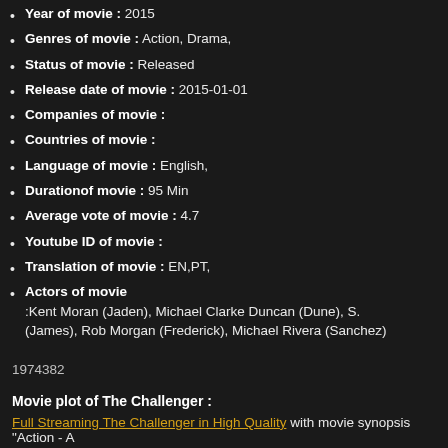Year of movie : 2015
Genres of movie : Action, Drama,
Status of movie : Released
Release date of movie : 2015-01-01
Companies of movie :
Countries of movie :
Language of movie : English,
Durationof movie : 95 Min
Average vote of movie : 4.7
Youtube ID of movie :
Translation of movie : EN,PT,
Actors of movie :Kent Moran (Jaden), Michael Clarke Duncan (Dune), S. (James), Rob Morgan (Frederick), Michael Rivera (Sanchez)
1974382
Movie plot of The Challenger :
Full Streaming The Challenger in High Quality with movie synopsis "Action - A